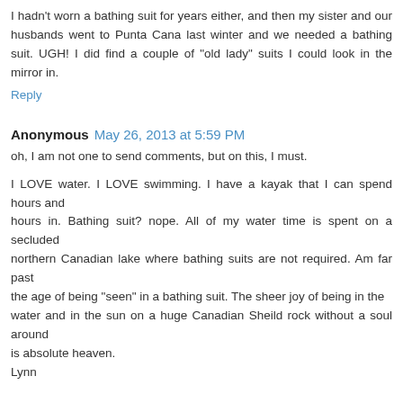I hadn't worn a bathing suit for years either, and then my sister and our husbands went to Punta Cana last winter and we needed a bathing suit. UGH! I did find a couple of "old lady" suits I could look in the mirror in.
Reply
Anonymous  May 26, 2013 at 5:59 PM
oh, I am not one to send comments, but on this, I must.

I LOVE water. I LOVE swimming. I have a kayak that I can spend hours and hours in. Bathing suit? nope. All of my water time is spent on a secluded northern Canadian lake where bathing suits are not required. Am far past the age of being "seen" in a bathing suit. The sheer joy of being in the water and in the sun on a huge Canadian Sheild rock without a soul around is absolute heaven.
Lynn